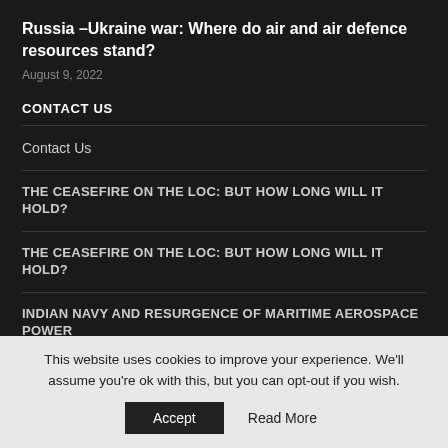Russia –Ukraine war: Where do air and air defence resources stand?
August 9, 2022
CONTACT US
Contact Us
THE CEASEFIRE ON THE LOC: BUT HOW LONG WILL IT HOLD?
THE CEASEFIRE ON THE LOC: BUT HOW LONG WILL IT HOLD?
INDIAN NAVY AND RESURGENCE OF MARITIME AEROSPACE POWER
This website uses cookies to improve your experience. We'll assume you're ok with this, but you can opt-out if you wish.